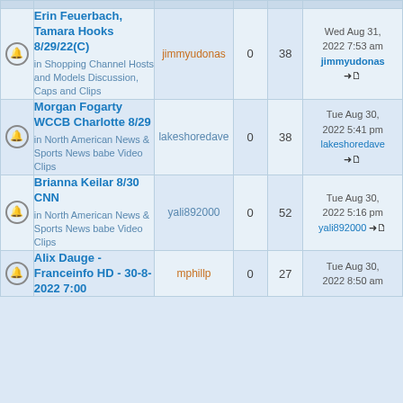|  | Topic | Author | Replies | Views | Last post |
| --- | --- | --- | --- | --- | --- |
| 🔔 | Erin Feuerbach, Tamara Hooks 8/29/22(C)
in Shopping Channel Hosts and Models Discussion, Caps and Clips | jimmyudonas | 0 | 38 | Wed Aug 31, 2022 7:53 am
jimmyudonas |
| 🔔 | Morgan Fogarty WCCB Charlotte 8/29
in North American News & Sports News babe Video Clips | lakeshoredave | 0 | 38 | Tue Aug 30, 2022 5:41 pm
lakeshoredave |
| 🔔 | Brianna Keilar 8/30 CNN
in North American News & Sports News babe Video Clips | yali892000 | 0 | 52 | Tue Aug 30, 2022 5:16 pm
yali892000 |
| 🔔 | Alix Dauge - Franceinfo HD - 30-8-2022 7:00
in ... | mphillp | 0 | 27 | Tue Aug 30, 2022 8:50 am |